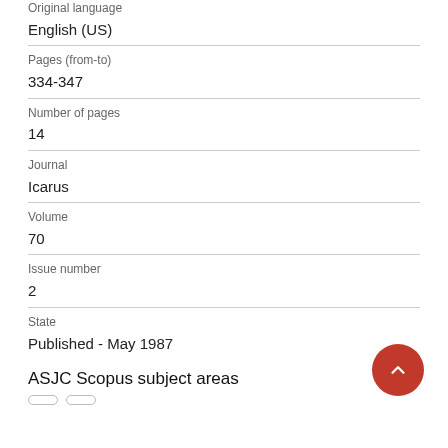Original language
English (US)
Pages (from-to)
334-347
Number of pages
14
Journal
Icarus
Volume
70
Issue number
2
State
Published - May 1987
ASJC Scopus subject areas